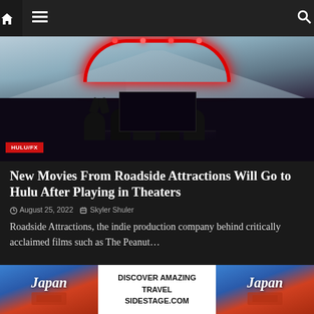Navigation bar with home, menu, and search icons
[Figure (photo): Stage scene with red neon arch lights and crowd silhouettes, HULU/FX badge overlay on film/concert imagery, also showing a road/city landscape]
New Movies From Roadside Attractions Will Go to Hulu After Playing in Theaters
August 25, 2022  Skyler Shuler
Roadside Attractions, the indie production company behind critically acclaimed films such as The Peanut...
[Figure (photo): Interior hotel room scene with lamp and seated figure silhouette]
DISCOVER AMAZING TRAVEL SIDESTAGE.COM